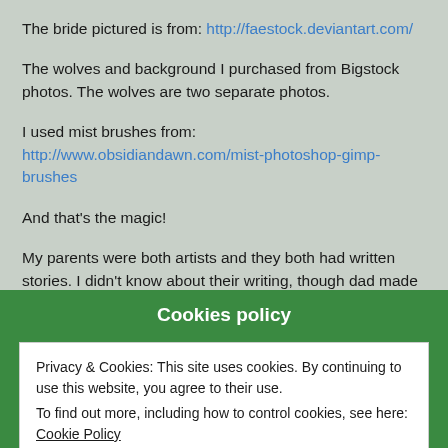The bride pictured is from: http://faestock.deviantart.com/
The wolves and background I purchased from Bigstock photos. The wolves are two separate photos.
I used mist brushes from: http://www.obsidiandawn.com/mist-photoshop-gimp-brushes
And that's the magic!
My parents were both artists and they both had written stories. I didn't know about their writing, though dad made up stories to tell us when we were kids, until I began to write my first novel and they shared with
Cookies policy
Privacy & Cookies: This site uses cookies. By continuing to use this website, you agree to their use.
To find out more, including how to control cookies, see here: Cookie Policy